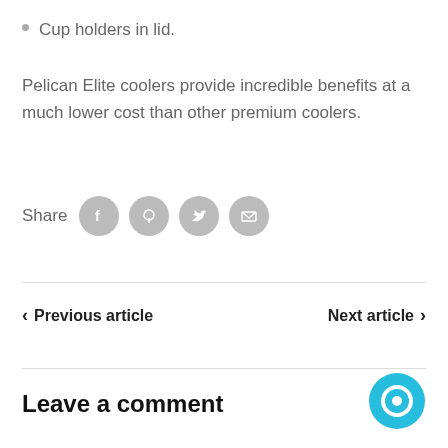Cup holders in lid.
Pelican Elite coolers provide incredible benefits at a much lower cost than other premium coolers.
Share
[Figure (infographic): Four gray circular social media share icons: Facebook, Pinterest, Twitter, Email]
< Previous article
Next article >
Leave a comment
[Figure (illustration): Cyan/blue circular chat bubble icon in bottom right corner]